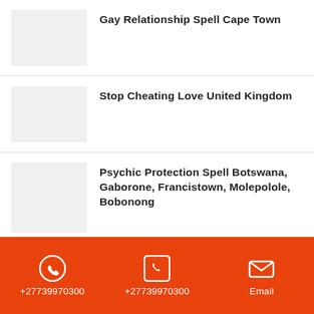Gay Relationship Spell Cape Town
Stop Cheating Love United Kingdom
Psychic Protection Spell Botswana, Gaborone, Francistown, Molepolole, Bobonong
Free Magic Spells for Love Ghana
+27739970300  +27739970300  Email